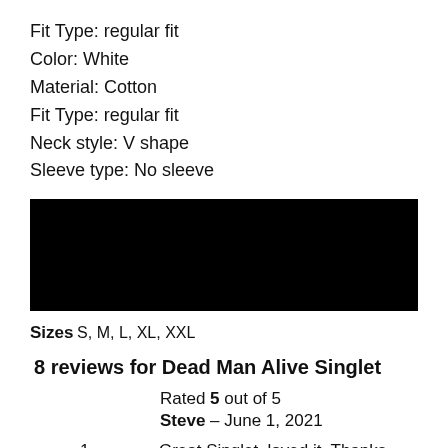Fit Type: regular fit
Color: White
Material: Cotton
Fit Type: regular fit
Neck style: V shape
Sleeve type: No sleeve
[Figure (photo): Black product photo area (dark/black image of the singlet)]
Sizes S, M, L, XL, XXL
8 reviews for Dead Man Alive Singlet
Rated 5 out of 5
Steve – June 1, 2021
1. Great Singlet, loved it. Thanks